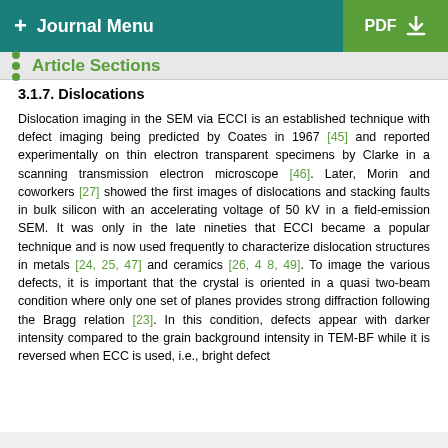+ Journal Menu   PDF ↓
Article Sections
3.1.7. Dislocations
Dislocation imaging in the SEM via ECCI is an established technique with defect imaging being predicted by Coates in 1967 [45] and reported experimentally on thin electron transparent specimens by Clarke in a scanning transmission electron microscope [46]. Later, Morin and coworkers [27] showed the first images of dislocations and stacking faults in bulk silicon with an accelerating voltage of 50 kV in a field-emission SEM. It was only in the late nineties that ECCI became a popular technique and is now used frequently to characterize dislocation structures in metals [24, 25, 47] and ceramics [26, 48, 49]. To image the various defects, it is important that the crystal is oriented in a quasi two-beam condition where only one set of planes provides strong diffraction following the Bragg relation [23]. In this condition, defects appear with darker intensity compared to the grain background intensity in TEM-BF while it is reversed when ECC is used, i.e., bright defect